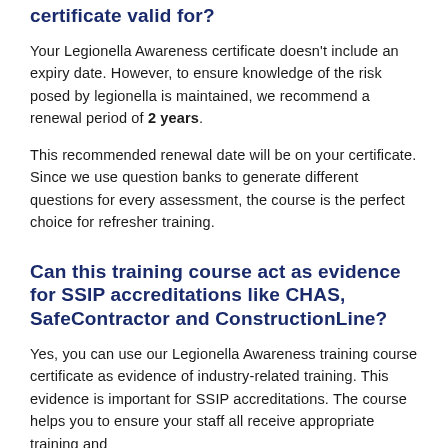certificate valid for?
Your Legionella Awareness certificate doesn't include an expiry date. However, to ensure knowledge of the risk posed by legionella is maintained, we recommend a renewal period of 2 years.
This recommended renewal date will be on your certificate. Since we use question banks to generate different questions for every assessment, the course is the perfect choice for refresher training.
Can this training course act as evidence for SSIP accreditations like CHAS, SafeContractor and ConstructionLine?
Yes, you can use our Legionella Awareness training course certificate as evidence of industry-related training. This evidence is important for SSIP accreditations. The course helps you to ensure your staff all receive appropriate training and